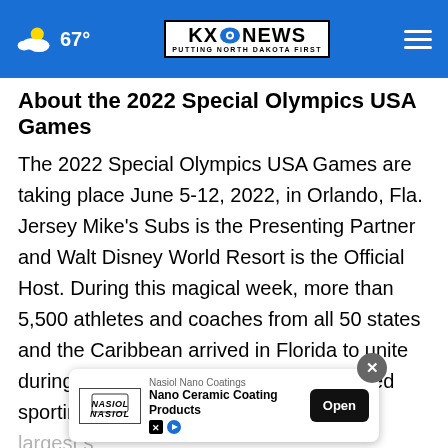67° KXO NEWS PUTTING NORTH DAKOTA FIRST
About the 2022 Special Olympics USA Games
The 2022 Special Olympics USA Games are taking place June 5-12, 2022, in Orlando, Fla. Jersey Mike's Subs is the Presenting Partner and Walt Disney World Resort is the Official Host. During this magical week, more than 5,500 athletes and coaches from all 50 states and the Caribbean arrived in Florida to unite during one of the country's most cherished sporting events. The USA Games is the largest sports and...
[Figure (other): Advertisement banner for Nasiol Nano Coatings - Nano Ceramic Coating Products with Open button]